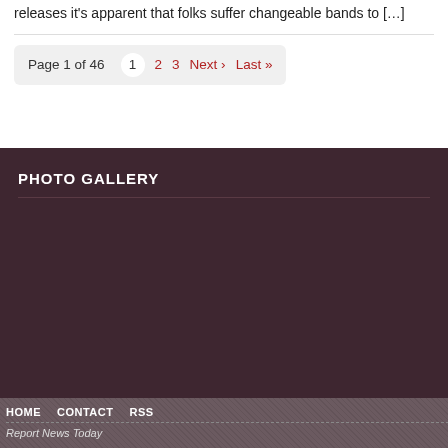releases it's apparent that folks suffer changeable bands to […]
Page 1 of 46   1   2   3   Next ›   Last »
PHOTO GALLERY
HOME   CONTACT   RSS
Report News Today